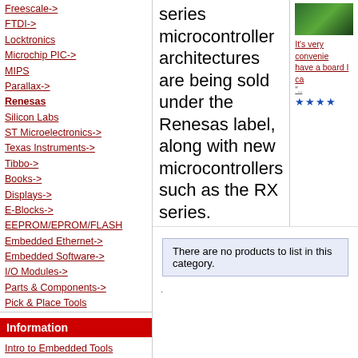Freescale->
FTDI->
Locktronics
Microchip PIC->
MIPS
Parallax->
Renesas
Silicon Labs
ST Microelectronics->
Texas Instruments->
Tibbo->
Books->
Displays->
E-Blocks->
EEPROM/EPROM/FLASH
Embedded Ethernet->
Embedded Software->
I/O Modules->
Parts & Components->
Pick & Place Tools
Programmable Logic (PLD)
Prototype PCBs->
Robotics
ROM/Flash Emulators
Test & Measurement->
Tutorial Software
Universal Programmers->
Wireless->
Information
Intro to Embedded Tools
series microcontroller architectures are being sold under the Renesas label, along with new microcontrollers such as the RX series.
It's very convenient to have a board I can...
There are no products to list in this category.